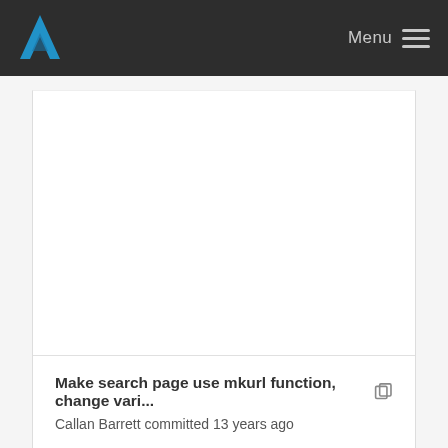Menu
Make search page use mkurl function, change vari... Callan Barrett committed 13 years ago